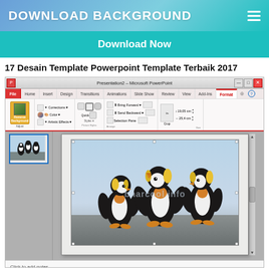DOWNLOAD BACKGROUND
Download Now
17 Desain Template Powerpoint Template Terbaik 2017
[Figure (screenshot): Screenshot of Microsoft PowerPoint 2010 with the Format tab active showing an image of penguins (king penguins standing together) inserted into a slide. The ribbon shows Picture Tools Format options including Remove Background, Corrections, Color, Artistic Effects, Quick Styles, Bring Forward, Send Backward, Selection Pane, Crop, and size dimensions (19.05 cm x 25.4 cm). A watermark reading 'bnarcool.info' is visible on the penguin image. The slide panel shows slide 1 of 1 with a thumbnail of the penguins. The status bar shows 'Slide 1 of 1', 'Office Theme', 'English (U.S.)', and 43% zoom.]